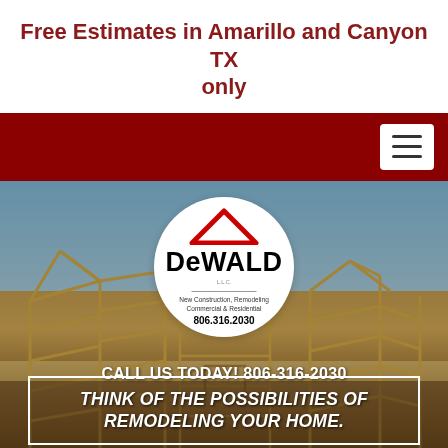Free Estimates in Amarillo and Canyon TX only
[Figure (logo): DeWALD LLC logo in a white circle with a red roof/house icon, tagline: New Construction, Remodeling, Commercial & Residential, phone: 806.316.2030]
CALL US TODAY! 806-316-2030
THINK OF THE POSSIBILITIES OF REMODELING YOUR HOME.